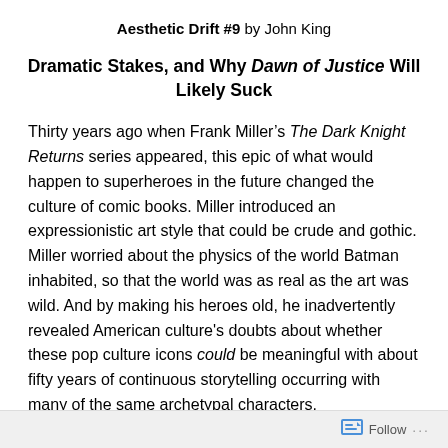Aesthetic Drift #9 by John King
Dramatic Stakes, and Why Dawn of Justice Will Likely Suck
Thirty years ago when Frank Miller’s The Dark Knight Returns series appeared, this epic of what would happen to superheroes in the future changed the culture of comic books. Miller introduced an expressionistic art style that could be crude and gothic. Miller worried about the physics of the world Batman inhabited, so that the world was as real as the art was wild. And by making his heroes old, he inadvertently revealed American culture’s doubts about whether these pop culture icons could be meaningful with about fifty years of continuous storytelling occurring with many of the same archetypal characters.
Follow ...